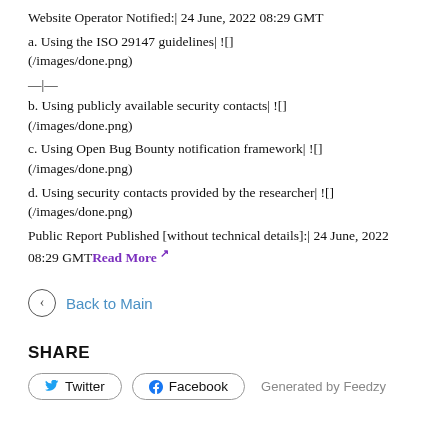Website Operator Notified:| 24 June, 2022 08:29 GMT
a. Using the ISO 29147 guidelines| ![]( /images/done.png)
—|—
b. Using publicly available security contacts| ![]( /images/done.png)
c. Using Open Bug Bounty notification framework| ![]( /images/done.png)
d. Using security contacts provided by the researcher| ![](/images/done.png)
Public Report Published [without technical details]:| 24 June, 2022 08:29 GMTRead More
Back to Main
SHARE
Twitter   Facebook   Generated by Feedzy